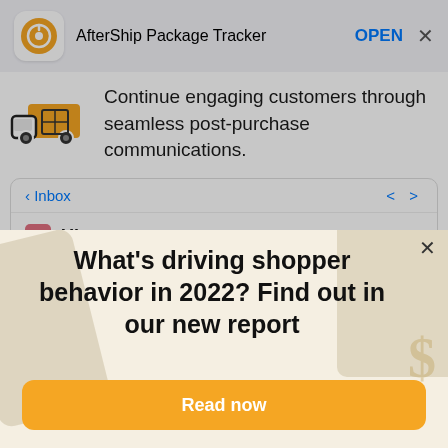AfterShip Package Tracker   OPEN  X
Continue engaging customers through seamless post-purchase communications.
[Figure (screenshot): Email inbox mockup showing Inbox header with navigation arrows and a sender row with icon showing 'Uben.']
What's driving shopper behavior in 2022? Find out in our new report
Read now